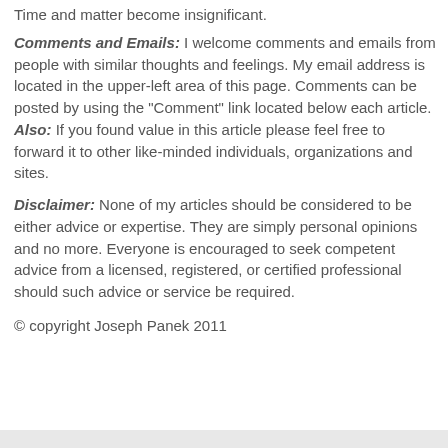Time and matter become insignificant.
Comments and Emails: I welcome comments and emails from people with similar thoughts and feelings. My email address is located in the upper-left area of this page. Comments can be posted by using the "Comment" link located below each article. Also: If you found value in this article please feel free to forward it to other like-minded individuals, organizations and sites.
Disclaimer: None of my articles should be considered to be either advice or expertise. They are simply personal opinions and no more. Everyone is encouraged to seek competent advice from a licensed, registered, or certified professional should such advice or service be required.
© copyright Joseph Panek 2011